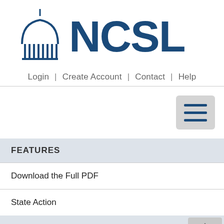[Figure (logo): NCSL logo with capitol dome icon and bold blue NCSL text]
Login | Create Account | Contact | Help
[Figure (other): Hamburger menu button (three horizontal lines) in a gray rounded square]
FEATURES
Download the Full PDF
State Action
CONTACT
Samantha Bloch